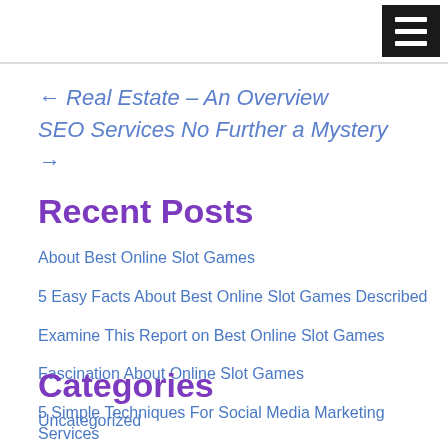← Real Estate – An Overview
SEO Services No Further a Mystery →
Recent Posts
About Best Online Slot Games
5 Easy Facts About Best Online Slot Games Described
Examine This Report on Best Online Slot Games
Fascination About Online Slot Games
5 Simple Techniques For Social Media Marketing Services
Categories
Uncategorized